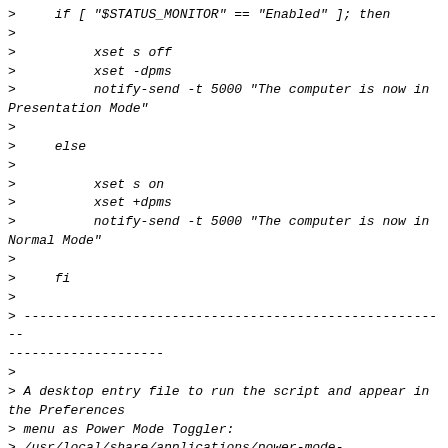>     if [ "$STATUS_MONITOR" == "Enabled" ]; then
>
>          xset s off
>          xset -dpms
>          notify-send -t 5000 "The computer is now in Presentation Mode"
>
>     else
>
>          xset s on
>          xset +dpms
>          notify-send -t 5000 "The computer is now in Normal Mode"
>
>     fi
>
> -----------------------------------------------------------------------------------------------------------
>
> A desktop entry file to run the script and appear in the Preferences
> menu as Power Mode Toggler:
> /usr/local/share/applications/power-mode-toggler.desktop
>
> [Desktop Entry]
> Version=1.0
>
> Type=Application
>